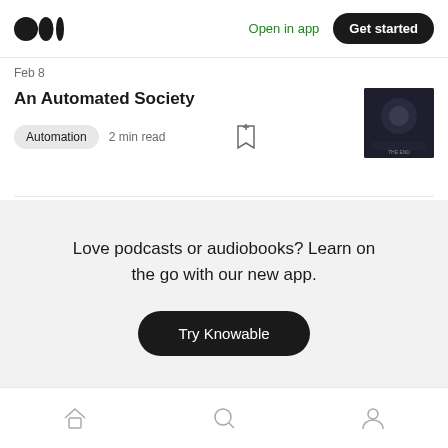Open in app | Get started
Feb 8
An Automated Society
Automation  2 min read
[Figure (photo): Dark thumbnail image for the article An Automated Society]
Love podcasts or audiobooks? Learn on the go with our new app.
Try Knowable
Home | Search | Profile